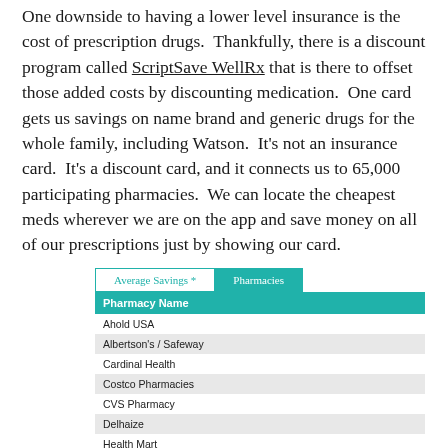One downside to having a lower level insurance is the cost of prescription drugs. Thankfully, there is a discount program called ScriptSave WellRx that is there to offset those added costs by discounting medication. One card gets us savings on name brand and generic drugs for the whole family, including Watson. It's not an insurance card. It's a discount card, and it connects us to 65,000 participating pharmacies. We can locate the cheapest meds wherever we are on the app and save money on all of our prescriptions just by showing our card.
| Pharmacy Name |
| --- |
| Ahold USA |
| Albertson's / Safeway |
| Cardinal Health |
| Costco Pharmacies |
| CVS Pharmacy |
| Delhaize |
| Health Mart |
| HEB |
| Hy-Vee |
| Kmart Pharmacy |